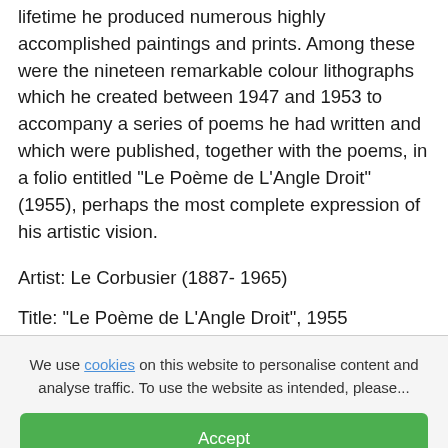lifetime he produced numerous highly accomplished paintings and prints. Among these were the nineteen remarkable colour lithographs which he created between 1947 and 1953 to accompany a series of poems he had written and which were published, together with the poems, in a folio entitled "Le Poème de L'Angle Droit" (1955), perhaps the most complete expression of his artistic vision.
Artist:  Le Corbusier (1887- 1965)
Title:  "Le Poème de L'Angle Droit", 1955
Medium:  Colour Lithographs
We use cookies on this website to personalise content and analyse traffic. To use the website as intended, please...
Accept